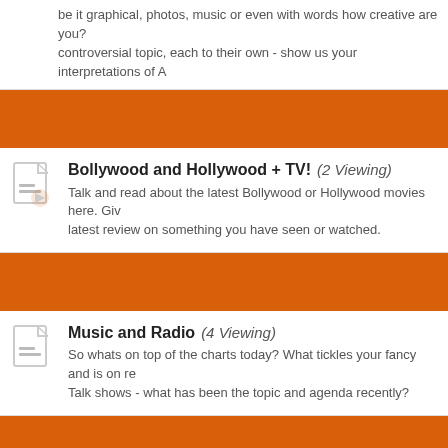be it graphical, photos, music or even with words how creative are you? controversial topic, each to their own - show us your interpretations of A
Bollywood and Hollywood + TV! (2 Viewing)
Talk and read about the latest Bollywood or Hollywood movies here. Give latest review on something you have seen or watched.
Music and Radio (4 Viewing)
So whats on top of the charts today? What tickles your fancy and is on rep Talk shows - what has been the topic and agenda recently?
Food and Drink
From the best drinks to the tastiest foods you've ever tasted! What tickle buds? Do you have a recepie to share? Or share your a Curry cooking tips